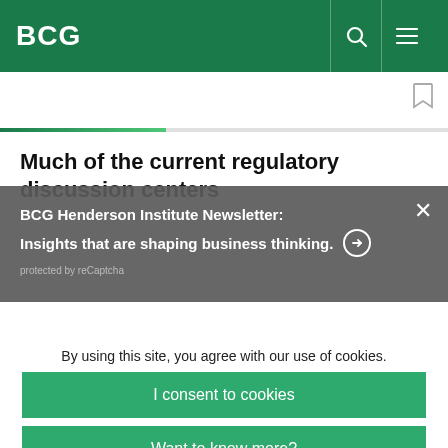BCG
Much of the current regulatory discussion centers
BCG Henderson Institute Newsletter: Insights that are shaping business thinking. → protected by reCaptcha
By using this site, you agree with our use of cookies.
I consent to cookies
Want to know more?
Read our Cookie Policy